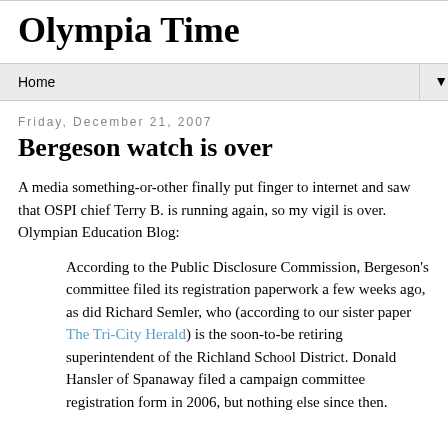Olympia Time
Home ▼
Friday, December 21, 2007
Bergeson watch is over
A media something-or-other finally put finger to internet and saw that OSPI chief Terry B. is running again, so my vigil is over. Olympian Education Blog:
According to the Public Disclosure Commission, Bergeson's committee filed its registration paperwork a few weeks ago, as did Richard Semler, who (according to our sister paper The Tri-City Herald) is the soon-to-be retiring superintendent of the Richland School District. Donald Hansler of Spanaway filed a campaign committee registration form in 2006, but nothing else since then.